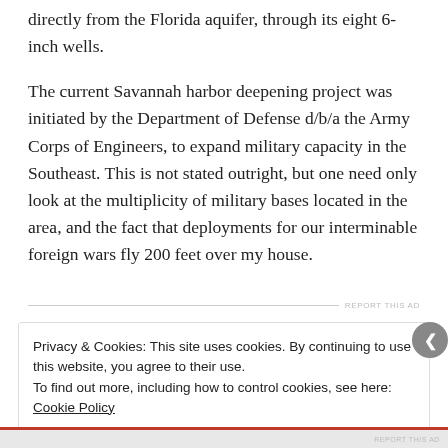directly from the Florida aquifer, through its eight 6-inch wells.
The current Savannah harbor deepening project was initiated by the Department of Defense d/b/a the Army Corps of Engineers, to expand military capacity in the Southeast. This is not stated outright, but one need only look at the multiplicity of military bases located in the area, and the fact that deployments for our interminable foreign wars fly 200 feet over my house.
Privacy & Cookies: This site uses cookies. By continuing to use this website, you agree to their use.
To find out more, including how to control cookies, see here: Cookie Policy
Close and accept